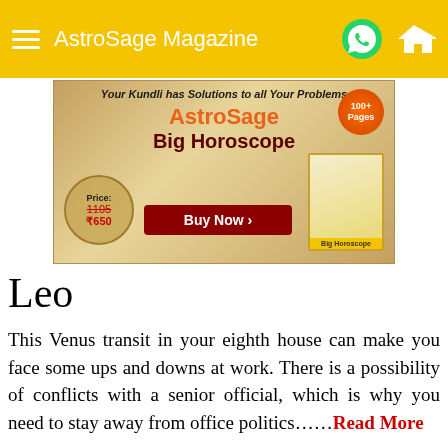AstroSage Magazine
[Figure (illustration): AstroSage Big Horoscope advertisement banner. Text: 'Your Kundli has Solutions to all Your Problems', 'AstroSage Big Horoscope', Price: 1105 struck through, ₹650. Buy Now button. Book image on right. 100+ Pages badge.]
Leo
This Venus transit in your eighth house can make you face some ups and downs at work. There is a possibility of conflicts with a senior official, which is why you need to stay away from office politics……Read More